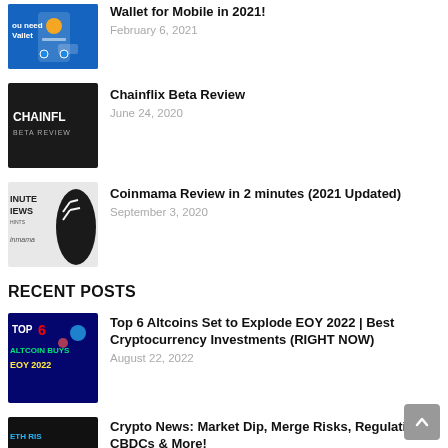[Figure (screenshot): Thumbnail for Wallet for Mobile in 2021 article - blue background with mobile app UI]
Wallet for Mobile in 2021!
February 6, 2021
[Figure (screenshot): Chainflix Beta Review thumbnail - dark background with CHAINFLIX BETA REVIEW text]
Chainflix Beta Review
June 24, 2020
[Figure (screenshot): Coinmama Review thumbnail - man making peace sign with INUTE NEWS inmama text]
Coinmama Review in 2 minutes (2021 Updated)
September 3, 2020
RECENT POSTS
[Figure (screenshot): Top 6 Altcoin Buys EOY 2022 thumbnail - dark blue background with colorful text]
Top 6 Altcoins Set to Explode EOY 2022 | Best Cryptocurrency Investments (RIGHT NOW)
August 22, 2022
[Figure (screenshot): Crypto News thumbnail - ETH RIS REGULATI visible on dark background]
Crypto News: Market Dip, Merge Risks, Regulation CBDCs & More!